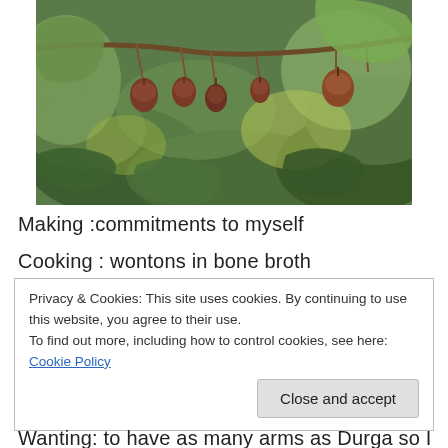[Figure (photo): Close-up photograph of brown/red fruits hanging from a branch with green leaves in a garden or natural setting.]
Making :commitments to myself
Cooking : wontons in bone broth
Privacy & Cookies: This site uses cookies. By continuing to use this website, you agree to their use.
To find out more, including how to control cookies, see here: Cookie Policy
Wanting: to have as many arms as Durga so I can do all